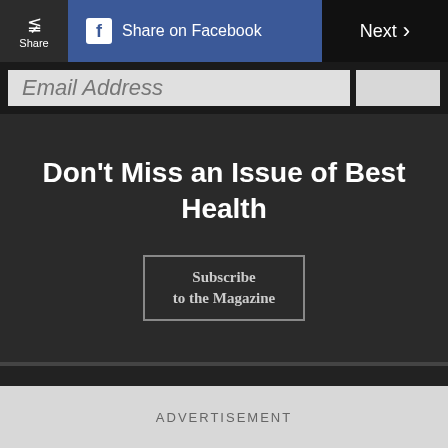Share | Share on Facebook | Next
Email Address
Don't Miss an Issue of Best Health
Subscribe to the Magazine
Beauty
Food
Wellness
Contests
ADVERTISEMENT